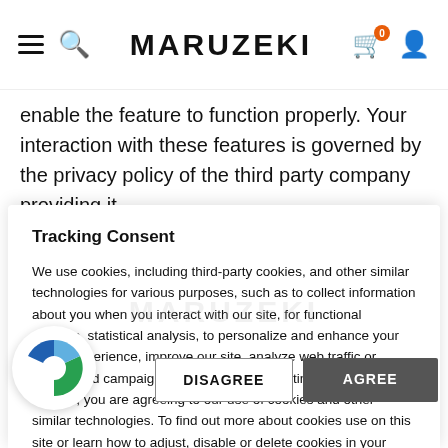MARUZEKI
enable the feature to function properly. Your interaction with these features is governed by the privacy policy of the third party company providing it.
Tracking Consent
We use cookies, including third-party cookies, and other similar technologies for various purposes, such as to collect information about you when you interact with our site, for functional reasons, statistical analysis, to personalize and enhance your online experience, improve our site, analyze web traffic or understand campaign effectiveness. By continuing to browse our site, you are agreeing to our use of cookies and other similar technologies. To find out more about cookies use on this site or learn how to adjust, disable or delete cookies in your browser, please read our Cookie Policy.
DISAGREE  AGREE
SHIP TO: English (United States)
SIGN UP TO OUR MAILING LIST